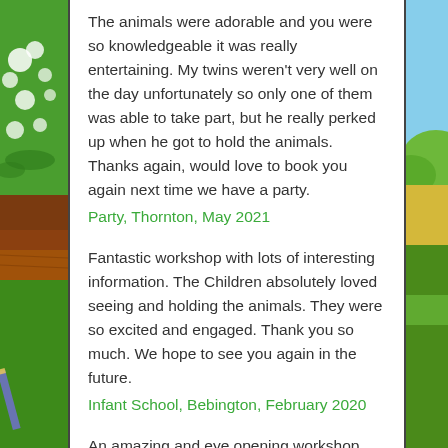The animals were adorable and you were so knowledgeable it was really entertaining. My twins weren't very well on the day unfortunately so only one of them was able to take part, but he really perked up when he got to hold the animals. Thanks again, would love to book you again next time we have a party.
Party, Thornton, May 2021
Fantastic workshop with lots of interesting information. The Children absolutely loved seeing and holding the animals. They were so excited and engaged. Thank you so much. We hope to see you again in the future.
Infant School, Bebington, February 2020
An amazing and eye opening workshop. Every child was enthralled by the animals and learnt so much